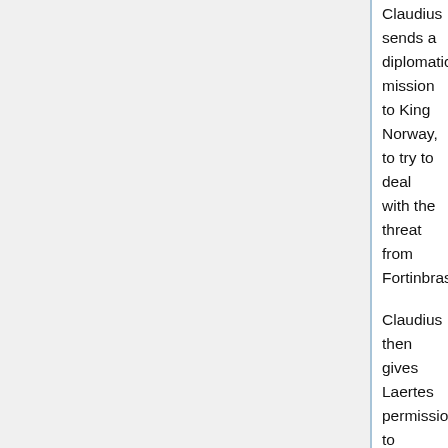Claudius sends a diplomatic mission to King Norway, to try to deal with the threat from Fortinbrasse.
Claudius then gives Laertes permission to return to France.
Claudius then speaks to Hamlet, who responds aside, "a little more than kin and less than kind." Gertrude speaks to Hamlet, trying to persuade him not to be so downhearted, and Hamlet responds that his grief is not just a show. Claudius then lectures Hamlet at considerable length, and although Claudius puts on a show of concern, it's clear enough that he hates Hamlet and fears him. Gertrude asks Hamlet to stay at Elsinore Castle, and he agrees to do so, despite his desire to return to school in Wittenberg. Claudius says he'll celebrate Hamlet's agreement to stay, and ends his first court session. All except Hamlet exit, and Hamlet speaks his "sallied flesh"